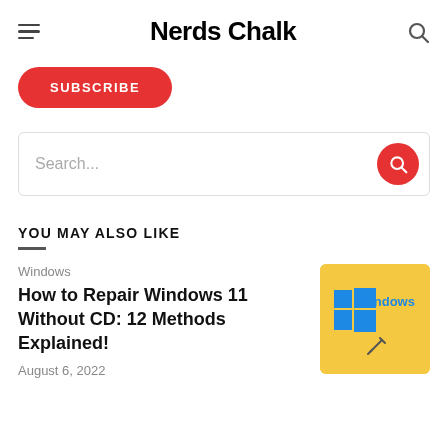Nerds Chalk
SUBSCRIBE
Search...
YOU MAY ALSO LIKE
Windows
How to Repair Windows 11 Without CD: 12 Methods Explained!
August 6, 2022
[Figure (screenshot): Yellow background Windows 11 logo thumbnail with blue Windows flag icon and text 'Windows 1' visible, with a pencil icon below]